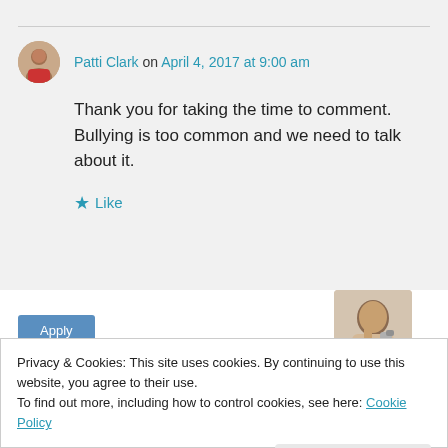Patti Clark on April 4, 2017 at 9:00 am
Thank you for taking the time to comment. Bullying is too common and we need to talk about it.
Like
[Figure (photo): Apply button and thumbnail image of a person on the phone]
Privacy & Cookies: This site uses cookies. By continuing to use this website, you agree to their use.
To find out more, including how to control cookies, see here: Cookie Policy
Close and accept